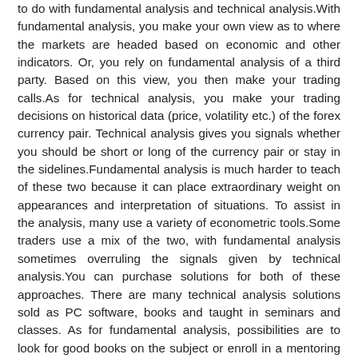to do with fundamental analysis and technical analysis.With fundamental analysis, you make your own view as to where the markets are headed based on economic and other indicators. Or, you rely on fundamental analysis of a third party. Based on this view, you then make your trading calls.As for technical analysis, you make your trading decisions on historical data (price, volatility etc.) of the forex currency pair. Technical analysis gives you signals whether you should be short or long of the currency pair or stay in the sidelines.Fundamental analysis is much harder to teach of these two because it can place extraordinary weight on appearances and interpretation of situations. To assist in the analysis, many use a variety of econometric tools.Some traders use a mix of the two, with fundamental analysis sometimes overruling the signals given by technical analysis.You can purchase solutions for both of these approaches. There are many technical analysis solutions sold as PC software, books and taught in seminars and classes. As for fundamental analysis, possibilities are to look for good books on the subject or enroll in a mentoring program that teaches you to analyze the fundamental information.